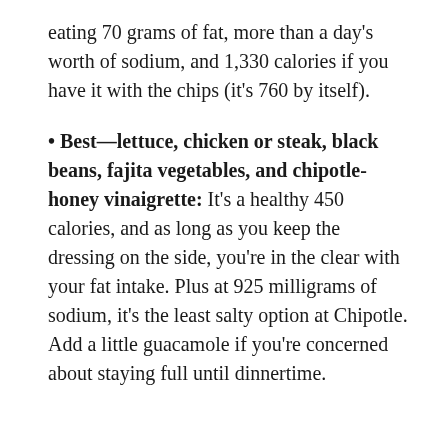eating 70 grams of fat, more than a day's worth of sodium, and 1,330 calories if you have it with the chips (it's 760 by itself).
Best—lettuce, chicken or steak, black beans, fajita vegetables, and chipotle-honey vinaigrette: It's a healthy 450 calories, and as long as you keep the dressing on the side, you're in the clear with your fat intake. Plus at 925 milligrams of sodium, it's the least salty option at Chipotle. Add a little guacamole if you're concerned about staying full until dinnertime.